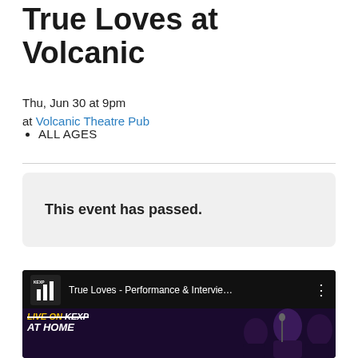True Loves at Volcanic
Thu, Jun 30 at 9pm
at Volcanic Theatre Pub
ALL AGES
This event has passed.
[Figure (screenshot): YouTube video thumbnail showing KEXP logo and title 'True Loves - Performance & Intervie...' with band performing in dark background, LIVE ON KEXP AT HOME overlay text]